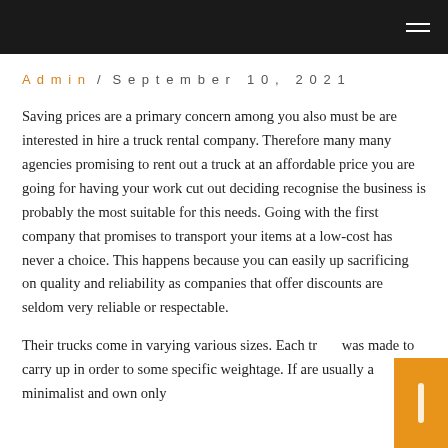Admin / September 10, 2021
Saving prices are a primary concern among you also must be are interested in hire a truck rental company. Therefore many many agencies promising to rent out a truck at an affordable price you are going for having your work cut out deciding recognise the business is probably the most suitable for this needs. Going with the first company that promises to transport your items at a low-cost has never a choice. This happens because you can easily up sacrificing on quality and reliability as companies that offer discounts are seldom very reliable or respectable.
Their trucks come in varying various sizes. Each truck was made to carry up in order to some specific weightage. If are usually a minimalist and own only